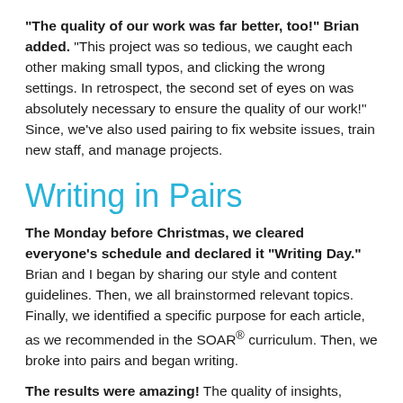“The quality of our work was far better, too!” Brian added. “This project was so tedious, we caught each other making small typos, and clicking the wrong settings. In retrospect, the second set of eyes on was absolutely necessary to ensure the quality of our work!” Since, we’ve also used pairing to fix website issues, train new staff, and manage projects.
Writing in Pairs
The Monday before Christmas, we cleared everyone’s schedule and declared it “Writing Day.” Brian and I began by sharing our style and content guidelines. Then, we all brainstormed relevant topics. Finally, we identified a specific purpose for each article, as we recommended in the SOAR® curriculum. Then, we broke into pairs and began writing.
The results were amazing! The quality of insights, ideas, and content that emerged was far better than